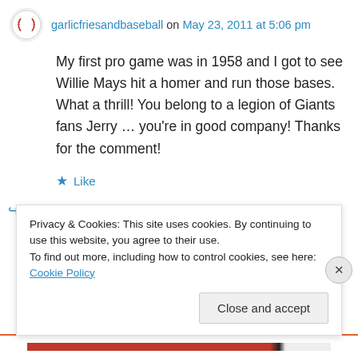garlicfriesandbaseball on May 23, 2011 at 5:06 pm
My first pro game was in 1958 and I got to see Willie Mays hit a homer and run those bases. What a thrill! You belong to a legion of Giants fans Jerry … you're in good company! Thanks for the comment!
Like
Reply
[Figure (photo): Red object photo strip, partially visible at top]
Privacy & Cookies: This site uses cookies. By continuing to use this website, you agree to their use.
To find out more, including how to control cookies, see here: Cookie Policy
Close and accept